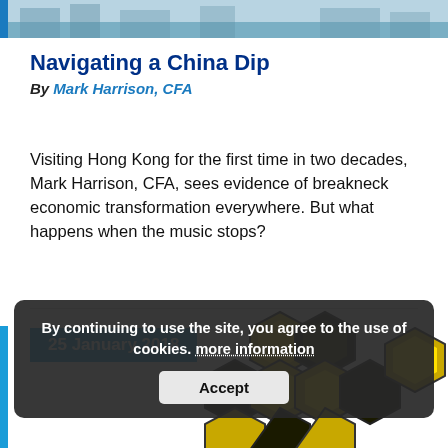[Figure (photo): Photographic strip of a cityscape, likely Hong Kong, at the top of the page]
Navigating a China Dip
By Mark Harrison, CFA
Visiting Hong Kong for the first time in two decades, Mark Harrison, CFA, sees evidence of breakneck economic transformation everywhere. But what happens when the music stops?
25 January 2018
[Figure (illustration): Geometric hexagonal graphic in yellow and black/dark olive colors, resembling a soccer ball pattern]
By continuing to use the site, you agree to the use of cookies. more information
Accept